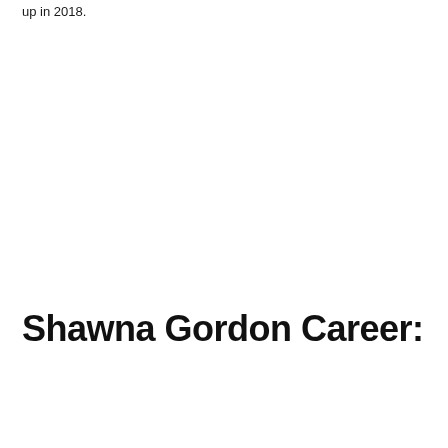up in 2018.
Shawna Gordon Career: